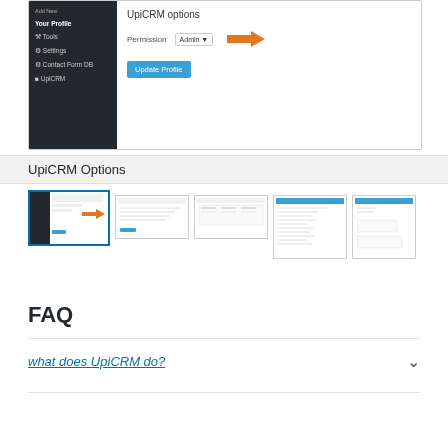[Figure (screenshot): WordPress admin screenshot showing UpiCRM options panel with Permission field set to Admin and an orange arrow pointing to it, alongside a WordPress sidebar menu with Your Profile selected]
UpiCRM Options
[Figure (screenshot): Row of 5 thumbnail screenshots showing different UpiCRM plugin screens, with the first thumbnail highlighted/selected]
FAQ
what does UpiCRM do?